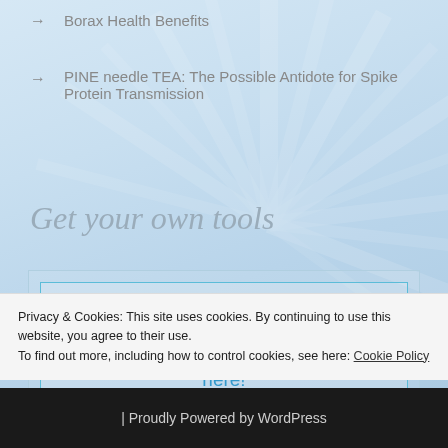→  Borax Health Benefits
→  PINE needle TEA: The Possible Antidote for Spike Protein Transmission
Get your own tools
Get your own Tachyon antennas here!
Privacy & Cookies: This site uses cookies. By continuing to use this website, you agree to their use.
To find out more, including how to control cookies, see here: Cookie Policy
| Proudly Powered by WordPress